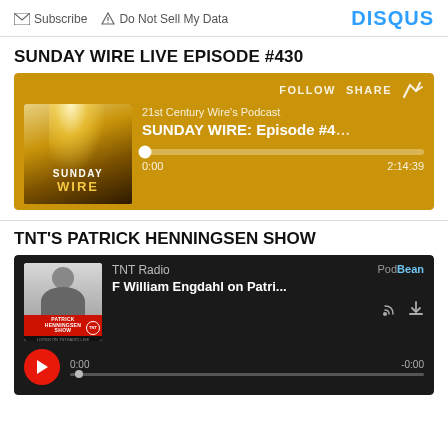Subscribe   Do Not Sell My Data   DISQUS
SUNDAY WIRE LIVE EPISODE #430
[Figure (screenshot): Podcast player widget with gold/yellow background showing 21st Century Wire's Podcast, SUNDAY WIRE: Episode #4, with progress bar at 0:00 of 2:14:39 total]
TNT'S PATRICK HENNINGSEN SHOW
[Figure (screenshot): TNT Radio podcast player with dark background, showing F William Engdahl on Patri..., PodBean branding, play button, time 0:00 / -0:00]